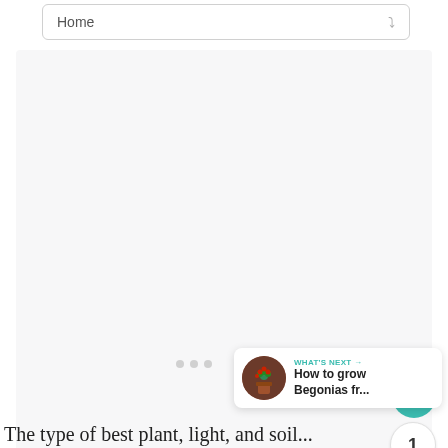Home
[Figure (screenshot): Large light gray content area placeholder, possibly a loading image or blank article image]
[Figure (infographic): Teal heart/like button, count badge showing '1', and share button on right side]
[Figure (infographic): What's Next card with thumbnail of begonias plant, label 'WHAT'S NEXT →', title 'How to grow Begonias fr...']
The type of best plant, light, and soil...